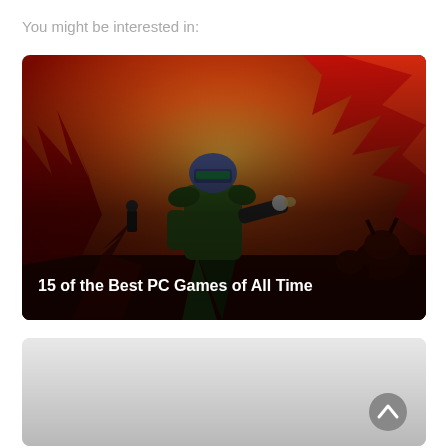You might be interested in:
[Figure (screenshot): Promotional card image for '15 of the Best PC Games of All Time' showing the classic Doom game artwork: a space marine in green armor fighting monsters on a hellish red landscape, with the article title overlaid in bold white text at the bottom.]
[Figure (other): Second content card, partially visible, showing a grey gradient placeholder background with a scroll-to-top button (chevron up icon) in the bottom right corner.]